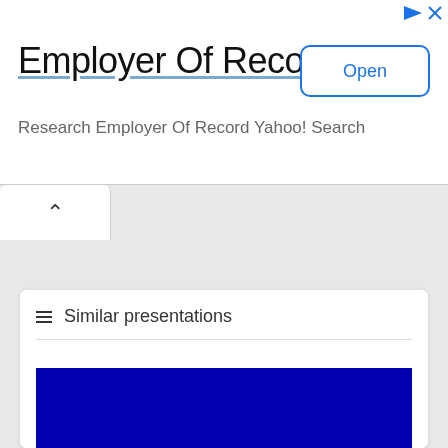[Figure (screenshot): Advertisement banner for 'Employer Of Record' with an Open button, subtitle 'Research Employer Of Record Yahoo! Search', and close/play icons in the top right corner.]
≡ Similar presentations
[Figure (screenshot): Blue slide preview thumbnail at the bottom of the Similar presentations card.]